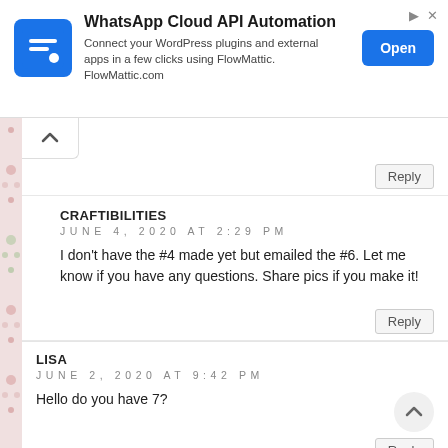[Figure (screenshot): WhatsApp Cloud API Automation advertisement banner with blue logo, description text, and Open button]
Reply
CRAFTIBILITIES
JUNE 4, 2020 AT 2:29 PM
I don't have the #4 made yet but emailed the #6. Let me know if you have any questions. Share pics if you make it!
Reply
LISA
JUNE 2, 2020 AT 9:42 PM
Hello do you have 7?
Reply